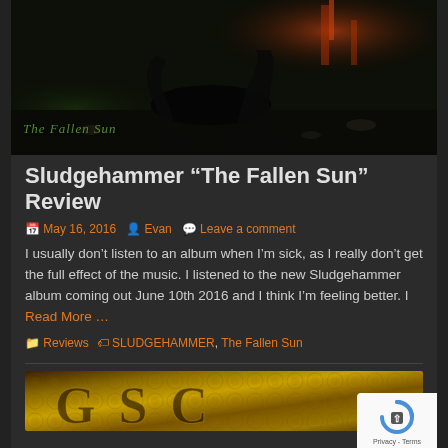[Figure (photo): Dark atmospheric album artwork showing post-apocalyptic scene with skeletal/creature figures in an industrial wasteland with fire and debris. Text overlay reads 'The Fallen Sun'.]
Sludgehammer “The Fallen Sun” Review
May 16, 2016   Evan   Leave a comment
I usually don’t listen to an album when I’m sick, as I really don’t get the full effect of the music. I listened to the new Sludgehammer album coming out June 10th 2016 and I think I’m feeling better. I Read More …
Reviews   SLUDGEHAMMER, The Fallen Sun
[Figure (photo): Album artwork with ornate golden/brown lettering, partially visible text resembling a band or album name.]